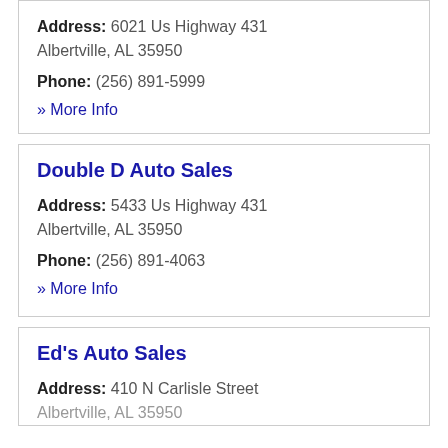Address: 6021 Us Highway 431 Albertville, AL 35950
Phone: (256) 891-5999
» More Info
Double D Auto Sales
Address: 5433 Us Highway 431 Albertville, AL 35950
Phone: (256) 891-4063
» More Info
Ed's Auto Sales
Address: 410 N Carlisle Street Albertville, AL 35950